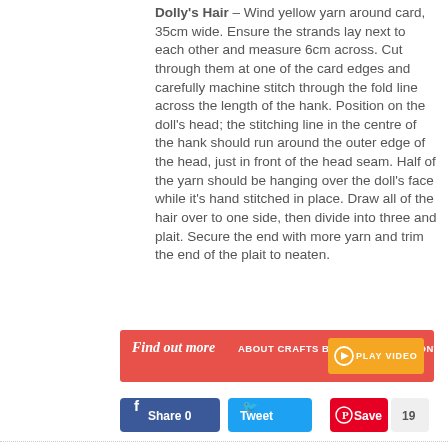Dolly's Hair – Wind yellow yarn around card, 35cm wide. Ensure the strands lay next to each other and measure 6cm across. Cut through them at one of the card edges and carefully machine stitch through the fold line across the length of the hank. Position on the doll's head; the stitching line in the centre of the hank should run around the outer edge of the head, just in front of the head seam. Half of the yarn should be hanging over the doll's face while it's hand stitched in place. Draw all of the hair over to one side, then divide into three and plait. Secure the end with more yarn and trim the end of the plait to neaten.
[Figure (infographic): Red banner with script text 'Find out more' and uppercase text 'ABOUT CRAFTS BEAUTIFUL THIS MONTH', with an orange 'PLAY VIDEO' button on the right.]
[Figure (infographic): Social sharing buttons: Facebook Share 0, Twitter Tweet, Pinterest Save with count 19.]